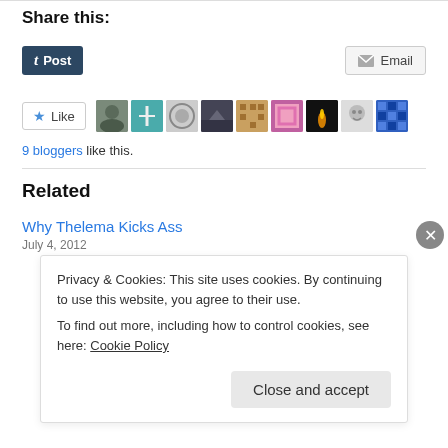Share this:
[Figure (screenshot): Tumblr Post button (dark blue) and Email button (light grey) for sharing]
[Figure (screenshot): Like button with star icon followed by 9 blogger avatar thumbnails]
9 bloggers like this.
Related
Why Thelema Kicks Ass
July 4, 2012
Privacy & Cookies: This site uses cookies. By continuing to use this website, you agree to their use.
To find out more, including how to control cookies, see here: Cookie Policy
Close and accept